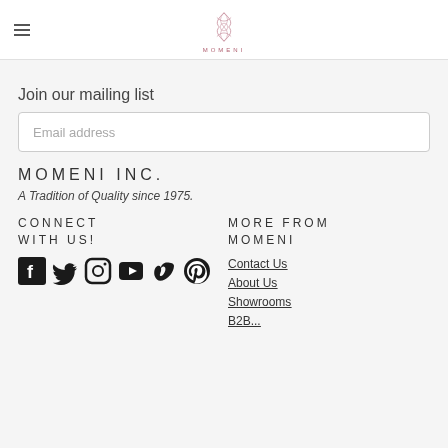MOMENI (logo/header)
Join our mailing list
Email address
MOMENI INC.
A Tradition of Quality since 1975.
CONNECT WITH US!
[Figure (infographic): Social media icons: Facebook, Twitter, Instagram, YouTube, Vimeo, Pinterest]
MORE FROM MOMENI
Contact Us
About Us
Showrooms